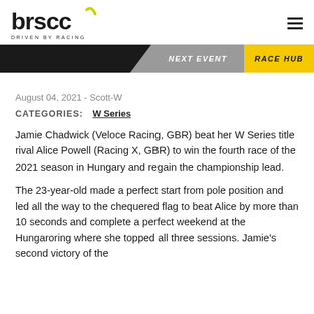brscc DRIVEN BY RACING
August 04, 2021 - Scott-W
CATEGORIES: W Series
Jamie Chadwick (Veloce Racing, GBR) beat her W Series title rival Alice Powell (Racing X, GBR) to win the fourth race of the 2021 season in Hungary and regain the championship lead.
The 23-year-old made a perfect start from pole position and led all the way to the chequered flag to beat Alice by more than 10 seconds and complete a perfect weekend at the Hungaroring where she topped all three sessions. Jamie's second victory of the